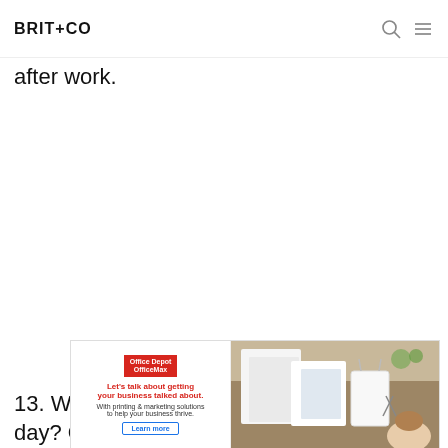BRIT+CO
after work.
[Figure (other): Advertisement overlay: Office Depot OfficeMax ad on the left side with text 'Let's talk about getting your business talked about. With printing & marketing solutions to help your business thrive.' and a Learn more button; right side shows a photo of a woman working at a desk with papers, a white bag, and office supplies.]
13. Wh… work day? O… d end